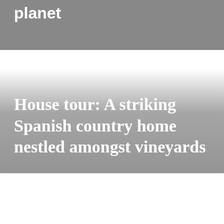planet
House tour: A striking Spanish country home nestled amongst vineyards